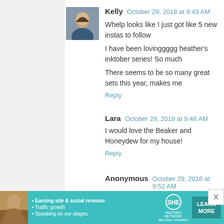[Figure (photo): Avatar photo of commenter Kelly - a small profile picture showing a woman]
Kelly  October 29, 2018 at 9:43 AM
Whelp looks like I just got like 5 new instas to follow
I have been lovinggggg heather's inktober series! So much
There seems to be so many great sets this year, makes me
Reply
Lara  October 29, 2018 at 9:48 AM
I would love the Beaker and Honeydew for my house!
Reply
Anonymous  October 29, 2018 at 9:52 AM
Please add me to those hoping for Beaker and Honeydew!
(Sorry to submit this under anonymous, but my attempts t astray. -Anna M)
Reply
[Figure (screenshot): Advertisement banner for SHE Partner Network with teal background, woman photo, bullet points about earning site & social revenue, traffic growth, speaking on our stages, SHE logo, and Learn More button]